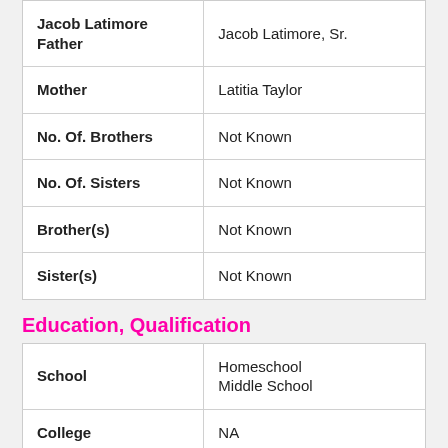|  |  |
| --- | --- |
| Jacob Latimore Father | Jacob Latimore, Sr. |
| Mother | Latitia Taylor |
| No. Of. Brothers | Not Known |
| No. Of. Sisters | Not Known |
| Brother(s) | Not Known |
| Sister(s) | Not Known |
Education, Qualification
|  |  |
| --- | --- |
| School | Homeschool
Middle School |
| College | NA |